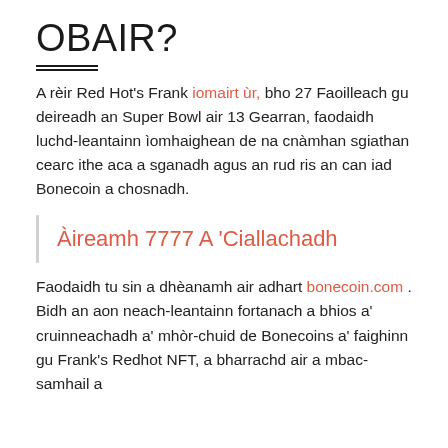OBAIR?
A rèir Red Hot's Frank iomairt ùr, bho 27 Faoilleach gu deireadh an Super Bowl air 13 Gearran, faodaidh luchd-leantainn ìomhaighean de na cnàmhan sgiathan cearc ithe aca a sganadh agus an rud ris an can iad Bonecoin a chosnadh.
Àireamh 7777 A 'Ciallachadh
Faodaidh tu sin a dhèanamh air adhart bonecoin.com . Bidh an aon neach-leantainn fortanach a bhios a' cruinneachadh a' mhòr-chuid de Bonecoins a' faighinn gu Frank's Redhot NFT, a bharrachd air a mbac-samhail a